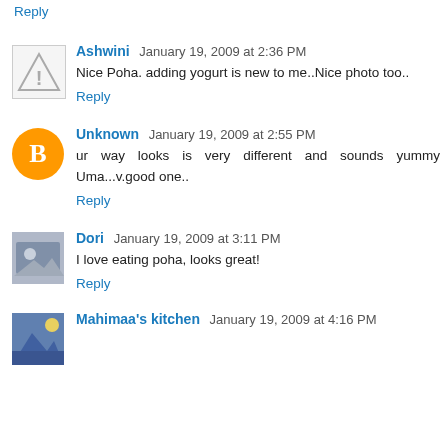Reply
Ashwini  January 19, 2009 at 2:36 PM
Nice Poha. adding yogurt is new to me..Nice photo too..
Reply
Unknown  January 19, 2009 at 2:55 PM
ur way looks is very different and sounds yummy Uma...v.good one..
Reply
Dori  January 19, 2009 at 3:11 PM
I love eating poha, looks great!
Reply
Mahimaa's kitchen  January 19, 2009 at 4:16 PM